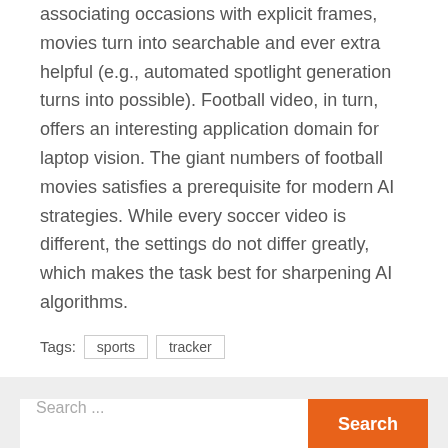associating occasions with explicit frames, movies turn into searchable and ever extra helpful (e.g., automated spotlight generation turns into possible). Football video, in turn, offers an interesting application domain for laptop vision. The giant numbers of football movies satisfies a prerequisite for modern AI strategies. While every soccer video is different, the settings do not differ greatly, which makes the task best for sharpening AI algorithms.
Tags: sports tracker
Search ...
RECENT POSTS
5 Essential Home Design Ideas for Aging in Place